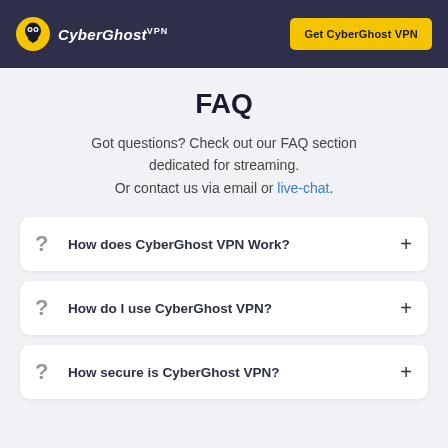CyberGhost VPN | Get CyberGhost VPN
FAQ
Got questions? Check out our FAQ section dedicated for streaming.
Or contact us via email or live-chat.
How does CyberGhost VPN Work?
How do I use CyberGhost VPN?
How secure is CyberGhost VPN?